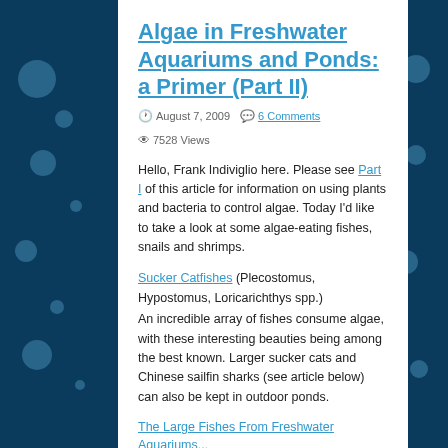Algae in Freshwater Aquariums and Ponds: a Primer (Part II)
August 7, 2009   6 Comments   7528 Views
Hello, Frank Indiviglio here. Please see Part I of this article for information on using plants and bacteria to control algae. Today I'd like to take a look at some algae-eating fishes, snails and shrimps.
Sucker Catfishes (Plecostomus, Hypostomus, Loricarichthys spp.)
An incredible array of fishes consume algae, with these interesting beauties being among the best known. Larger sucker cats and Chinese sailfin sharks (see article below) can also be kept in outdoor ponds.